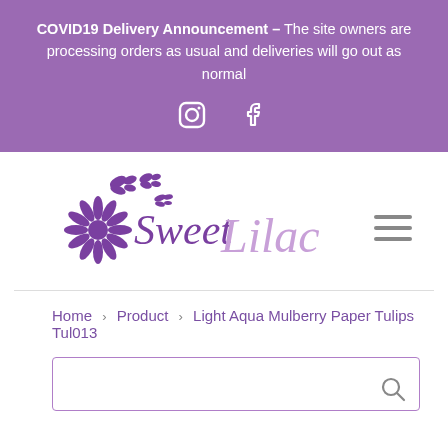COVID19 Delivery Announcement – The site owners are processing orders as usual and deliveries will go out as normal
[Figure (logo): Sweet Lilac logo with flower and butterflies in purple]
Home > Product > Light Aqua Mulberry Paper Tulips Tul013